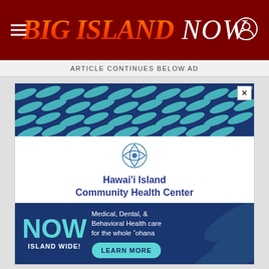Big Island Now
ARTICLE CONTINUES BELOW AD
[Figure (illustration): Advertisement for Hawai'i Island Community Health Center featuring decorative wave pattern banner, organization logo, and text: Medical, Dental, & Behavioral Health care for the whole 'ohana. NOW ISLAND WIDE! with a LEARN MORE button.]
Construction began back in 2013 and was limit January through May to avoid disturbing nestin